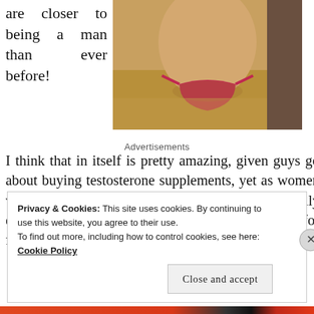are closer to being a man than ever before!
[Figure (photo): Photo of a woman in a bikini bottom on a sandy beach background]
Advertisements
I think that in itself is pretty amazing, given guys go about buying testosterone supplements, yet as women we have free flowing hormones given to us naturally every month! I see this as a huge advantage for females! That's
Privacy & Cookies: This site uses cookies. By continuing to use this website, you agree to their use.
To find out more, including how to control cookies, see here: Cookie Policy
Close and accept